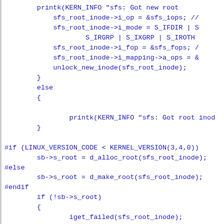[Figure (screenshot): Source code snippet in C showing Linux kernel filesystem (sfs) inode setup and root directory allocation with preprocessor conditionals for kernel version compatibility.]